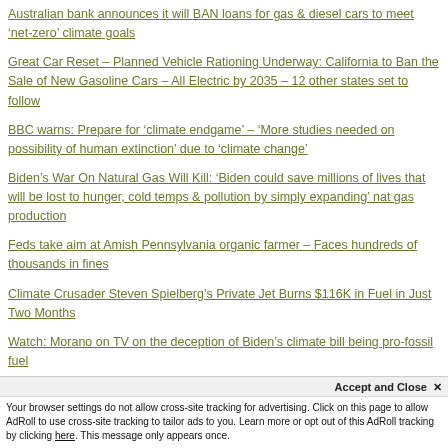Australian bank announces it will BAN loans for gas & diesel cars to meet ‘net-zero’ climate goals
Great Car Reset – Planned Vehicle Rationing Underway: California to Ban the Sale of New Gasoline Cars – All Electric by 2035 – 12 other states set to follow
BBC warns: Prepare for ‘climate endgame’ – ‘More studies needed on possibility of human extinction’ due to ‘climate change’
Biden’s War On Natural Gas Will Kill: ‘Biden could save millions of lives that will be lost to hunger, cold temps & pollution by simply expanding’ nat gas production
Feds take aim at Amish Pennsylvania organic farmer – Faces hundreds of thousands in fines
Climate Crusader Steven Spielberg’s Private Jet Burns $116K in Fuel in Just Two Months
Watch: Morano on TV on the deception of Biden’s climate bill being pro-fossil fuel
Feds take aim at Amish Pennsylvania organic farmer – Faces hundreds of thousands in fines
Accept and Close ×
Your browser settings do not allow cross-site tracking for advertising. Click on this page to allow AdRoll to use cross-site tracking to tailor ads to you. Learn more or opt out of this AdRoll tracking by clicking here. This message only appears once.